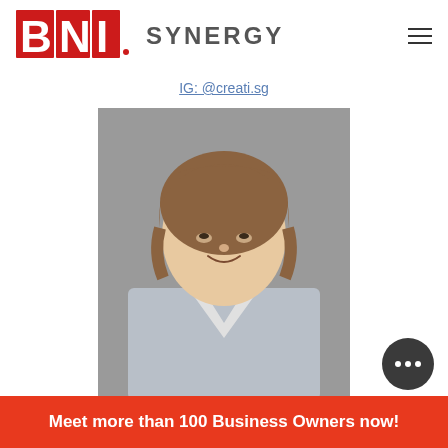BNI SYNERGY
IG: @creati.sg
[Figure (photo): Professional headshot of an Asian woman with shoulder-length brown hair, wearing a light grey blazer over a white top, smiling against a grey background]
Meet more than 100 Business Owners now!